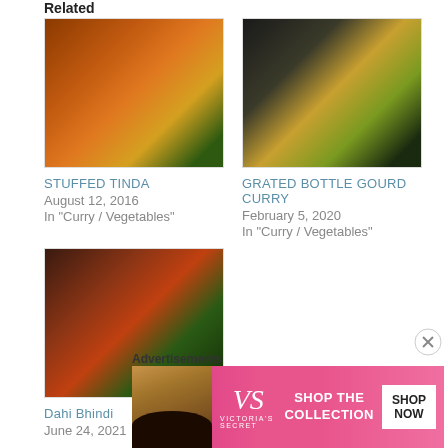Related
[Figure (photo): Photo of Stuffed Tinda Indian curry dish in a dark bowl with green coriander garnish]
STUFFED TINDA
August 12, 2016
In "Curry / Vegetables"
[Figure (photo): Photo of Grated Bottle Gourd Curry with yellow gourd pieces in dark sauce in a black bowl]
GRATED BOTTLE GOURD CURRY
February 5, 2020
In "Curry / Vegetables"
[Figure (photo): Photo of Dahi Bhindi dish in a white bowl with okra in red gravy and green herbs]
Dahi Bhindi
June 24, 2021
Advertisements
[Figure (screenshot): Victoria's Secret advertisement banner with pink background, model photo, VS logo, 'SHOP THE COLLECTION' text and 'SHOP NOW' button]